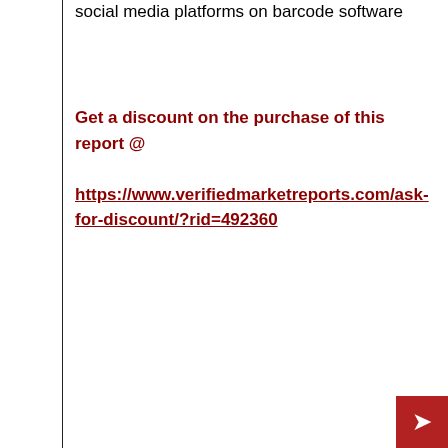social media platforms on barcode software
Get a discount on the purchase of this report @ https://www.verifiedmarketreports.com/ask-for-discount/?rid=492360